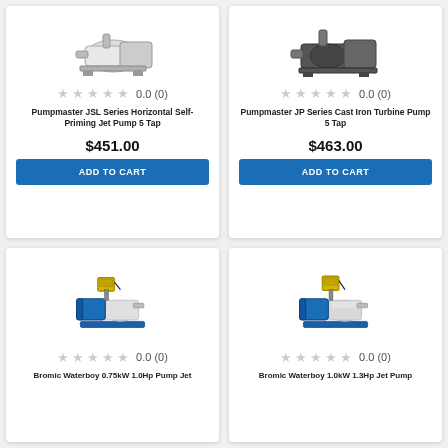[Figure (photo): Pumpmaster JSL Series Horizontal Self-Priming Jet Pump product image]
0.0 (0)
Pumpmaster JSL Series Horizontal Self-Priming Jet Pump 5 Tap
$451.00
ADD TO CART
[Figure (photo): Pumpmaster JP Series Cast Iron Turbine Pump product image]
0.0 (0)
Pumpmaster JP Series Cast Iron Turbine Pump 5 Tap
$463.00
ADD TO CART
[Figure (photo): Bromic Waterboy 0.75kW 1.0Hp Pump Jet pump with blue motor and pressure controller]
0.0 (0)
Bromic Waterboy 0.75kW 1.0Hp Pump Jet
[Figure (photo): Bromic Waterboy 1.0kW 1.3Hp Jet Pump with stainless body and pressure controller]
0.0 (0)
Bromic Waterboy 1.0kW 1.3Hp Jet Pump